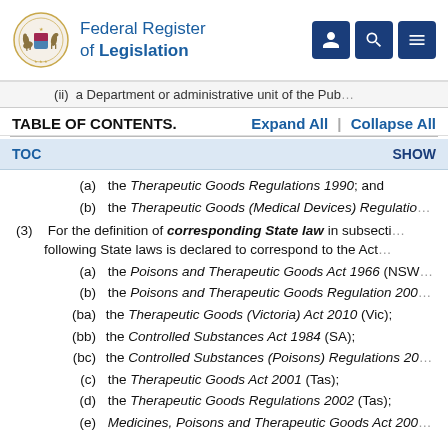Federal Register of Legislation
(ii) a Department or administrative unit of the Pub[lic Service of…]
TABLE OF CONTENTS.  Expand All  |  Collapse All
TOC  SHOW
(a) the Therapeutic Goods Regulations 1990; and
(b) the Therapeutic Goods (Medical Devices) Regulatio[ns…]
(3) For the definition of corresponding State law in subsecti[on…] following State laws is declared to correspond to the Act[…]
(a) the Poisons and Therapeutic Goods Act 1966 (NSW[…]
(b) the Poisons and Therapeutic Goods Regulation 200[…]
(ba) the Therapeutic Goods (Victoria) Act 2010 (Vic);
(bb) the Controlled Substances Act 1984 (SA);
(bc) the Controlled Substances (Poisons) Regulations 20[…]
(c) the Therapeutic Goods Act 2001 (Tas);
(d) the Therapeutic Goods Regulations 2002 (Tas);
(e) Medicines, Poisons and Therapeutic Goods Act 200[…]